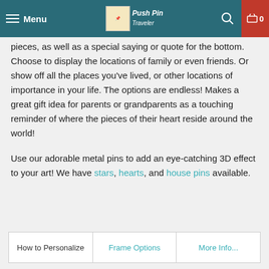Menu | Push Pin Traveler | Search | Cart 0
pieces, as well as a special saying or quote for the bottom. Choose to display the locations of family or even friends. Or show off all the places you've lived, or other locations of importance in your life. The options are endless! Makes a great gift idea for parents or grandparents as a touching reminder of where the pieces of their heart reside around the world!
Use our adorable metal pins to add an eye-catching 3D effect to your art! We have stars, hearts, and house pins available.
How to Personalize
Frame Options
More Info...